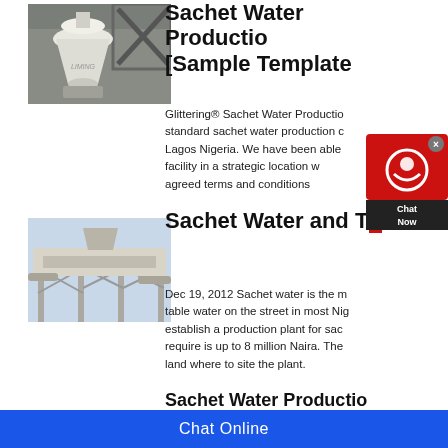[Figure (photo): Industrial cone crusher machine (LIMING brand) in a warehouse setting]
Sachet Water Production [Sample Template
Glittering® Sachet Water Production standard sachet water production co Lagos Nigeria. We have been able facility in a strategic location w agreed terms and conditions
[Figure (photo): Industrial sand/aggregate screening plant on metal framework structure]
Sachet Water and T e
Dec 19, 2012 Sachet water is the m table water on the street in most Nig establish a production plant for sac require is up to 8 million Naira. The land where to site the plant.
[Figure (other): Chat Now popup widget with red bubble and dark chat now box]
Chat Online